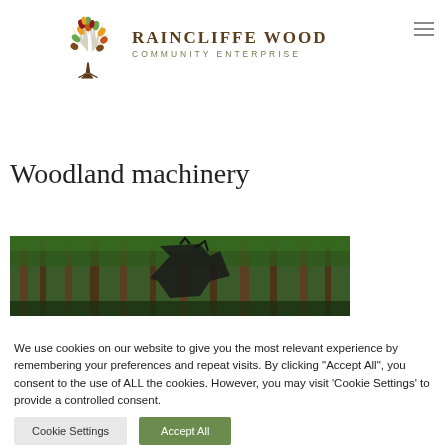[Figure (logo): Raincliffe Wood Community Enterprise logo with a tree illustration and text]
Woodland machinery
[Figure (photo): Woodland machinery photo showing forest equipment among trees]
We use cookies on our website to give you the most relevant experience by remembering your preferences and repeat visits. By clicking “Accept All”, you consent to the use of ALL the cookies. However, you may visit 'Cookie Settings' to provide a controlled consent.